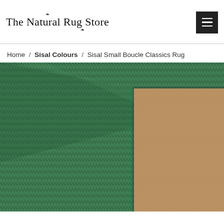The Natural Rug Store
Home / Sisal Colours / Sisal Small Boucle Classics Rug
[Figure (photo): Close-up photograph of a sisal rug with a dark green herringbone-patterned fabric border. The corner of the rug is shown, revealing the natural tan/brown woven sisal centre and the wide green border trim.]